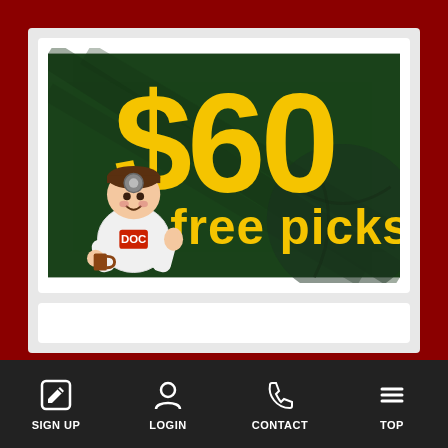[Figure (illustration): Advertisement banner showing '$60 free picks' in large yellow text on a dark green background with money imagery, and a cartoon doctor character giving thumbs up]
SIGN UP  LOGIN  CONTACT  TOP